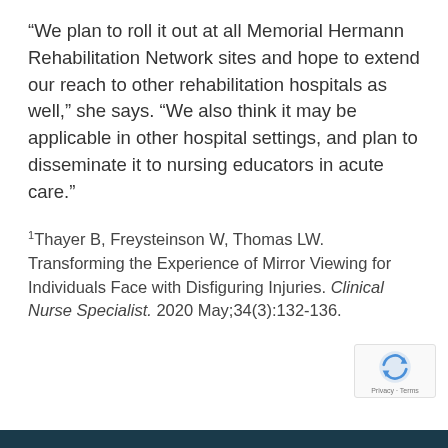“We plan to roll it out at all Memorial Hermann Rehabilitation Network sites and hope to extend our reach to other rehabilitation hospitals as well,” she says. “We also think it may be applicable in other hospital settings, and plan to disseminate it to nursing educators in acute care.”
1Thayer B, Freysteinson W, Thomas LW. Transforming the Experience of Mirror Viewing for Individuals Face with Disfiguring Injuries. Clinical Nurse Specialist. 2020 May;34(3):132-136.